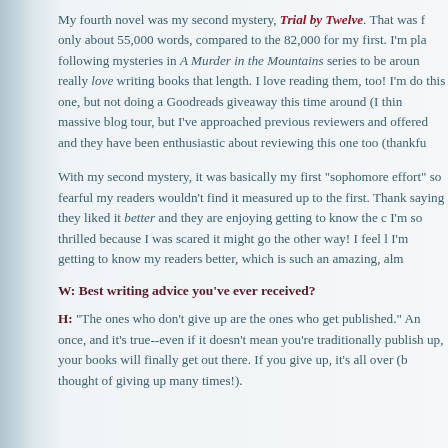My fourth novel was my second mystery, Trial by Twelve. That was f only about 55,000 words, compared to the 82,000 for my first. I'm pla following mysteries in A Murder in the Mountains series to be aroun really love writing books that length. I love reading them, too! I'm do this one, but not doing a Goodreads giveaway this time around (I thin massive blog tour, but I've approached previous reviewers and offered and they have been enthusiastic about reviewing this one too (thankfu
With my second mystery, it was basically my first "sophomore effort" so fearful my readers wouldn't find it measured up to the first. Thank saying they liked it better and they are enjoying getting to know the c I'm so thrilled because I was scared it might go the other way! I feel l I'm getting to know my readers better, which is such an amazing, alm
W: Best writing advice you've ever received?
H: "The ones who don't give up are the ones who get published." An once, and it's true--even if it doesn't mean you're traditionally publish up, your books will finally get out there. If you give up, it's all over (b thought of giving up many times!).